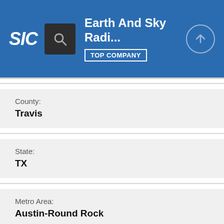SIC | Earth And Sky Radi... | TOP COMPANY
County:
Travis
State:
TX
Metro Area:
Austin-Round Rock
ZIP:
78731
Area Code: